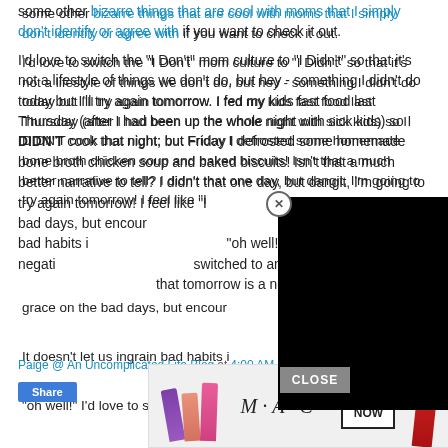some other bizarre things that are cool with moms that I simply don't identify or agree with if you want to check it out.
I'd love to switch the "I Don't" mom culture to "I Didn't" so that it's not a lifestyle of things we don't do, but hey - something I didn't do today but I'll try again tomorrow. I fed my kids fast food last Thursday (after I had been up the whole night with sick kids) so I DIDN'T cook that night; but Friday I defrosted some homemade bone broth chicken soup and baked biscuits! Isn't that a much better narrative to tell? I didn't that one day, but dangit, I'm going to try again tomorrow! I feel like "I Didn't" gives us grace on the bad days, but encourages us to try again. It doesn't let us ingrain bad habits into our lifestyle with an "oh well!" I'd love to see the negative "I Don't" culture switched to an "I Didn't" with encouragement and the reminder that tomorrow is a new day.
Paige @ An Uncomplicated Life Blog at 4:00 AM    49 comments:
[Figure (screenshot): Black video overlay box partially covering the right side of the article text, with a close (X) button]
[Figure (photo): MAC cosmetics advertisement showing lipsticks in purple, salmon, pink, and red colors alongside MAC logo and SHOP NOW button, with a CLOSE button overlay]